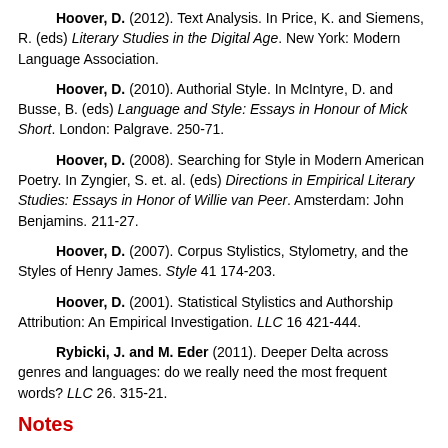Hoover, D. (2012). Text Analysis. In Price, K. and Siemens, R. (eds) Literary Studies in the Digital Age. New York: Modern Language Association.
Hoover, D. (2010). Authorial Style. In McIntyre, D. and Busse, B. (eds) Language and Style: Essays in Honour of Mick Short. London: Palgrave. 250-71.
Hoover, D. (2008). Searching for Style in Modern American Poetry. In Zyngier, S. et. al. (eds) Directions in Empirical Literary Studies: Essays in Honor of Willie van Peer. Amsterdam: John Benjamins. 211-27.
Hoover, D. (2007). Corpus Stylistics, Stylometry, and the Styles of Henry James. Style 41 174-203.
Hoover, D. (2001). Statistical Stylistics and Authorship Attribution: An Empirical Investigation. LLC 16 421-444.
Rybicki, J. and M. Eder (2011). Deeper Delta across genres and languages: do we really need the most frequent words? LLC 26. 315-21.
Notes